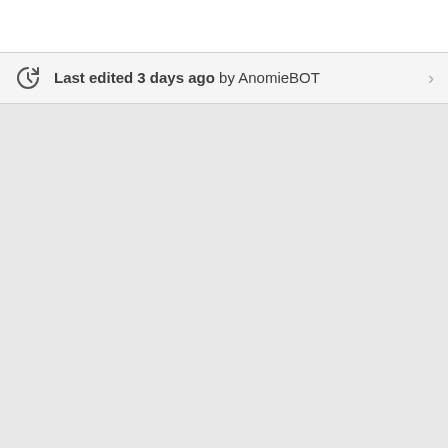Last edited 3 days ago by AnomieBOT